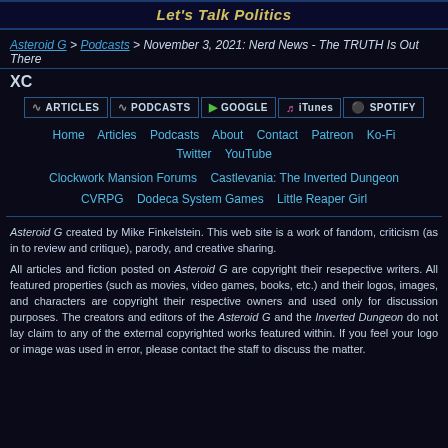Let's Talk Politics
Asteroid G > Podcasts > November 3, 2021: Nerd News - The TRUTH Is Out There
XC
[Figure (infographic): Navigation buttons: ARTICLES, PODCASTS, GOOGLE, iTunes, SPOTIFY]
Home   Articles   Podcasts   About   Contact   Patreon   Ko-Fi   Twitter   YouTube
Clockwork Mansion Forums   Castlevania: The Inverted Dungeon   CVRPG   Dodeca System Games   Little Reaper Girl
Asteroid G created by Mike Finkelstein. This web site is a work of fandom, criticism (as in to review and critique), parody, and creative sharing.
All articles and fiction posted on Asteroid G are copyright their resepective writers. All featured properties (such as movies, video games, books, etc.) and their logos, images, and characters are copyright their respective owners and used only for discussion purposes. The creators and editors of the Asteroid G and the Inverted Dungeon do not lay claim to any of the external copyrighted works featured within. If you feel your logo or image was used in error, please contact the staff to discuss the matter.